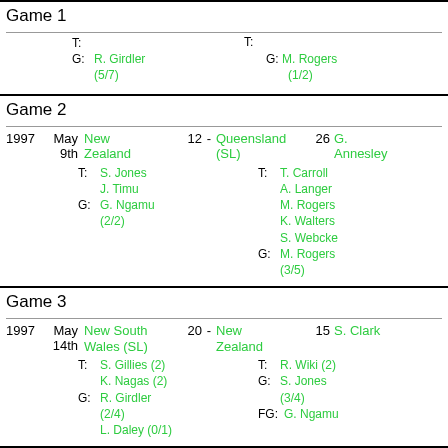Game 1
T: (partial)
G: R. Girdler (5/7)
T:
G: M. Rogers (1/2)
Game 2
1997 May 9th New Zealand 12 - Queensland (SL) 26 G. Annesley
T: S. Jones, J. Timu
G: G. Ngamu (2/2)
T: T. Carroll, A. Langer, M. Rogers, K. Walters, S. Webcke
G: M. Rogers (3/5)
Game 3
1997 May 14th New South Wales (SL) 20 - New Zealand 15 S. Clark
T: S. Gillies (2), K. Nagas (2)
G: R. Girdler (2/4), L. Daley (0/1)
T: R. Wiki (2)
G: S. Jones (3/4)
FG: G. Ngamu
Grand Final
May New South Queensland B.